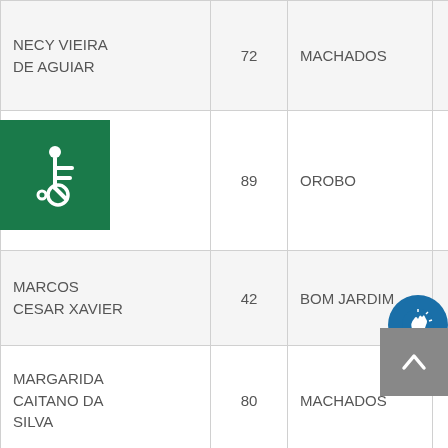| Nome | Idade | Municipio | Col4 | Col5 |
| --- | --- | --- | --- | --- |
| NECY VIEIRA DE AGUIAR | 72 | MACHADOS | 1 | 514 |
| ROSALINA MARIA DA CONCEICAO | 89 | OROBO | 1 |  |
| MARCOS CESAR XAVIER | 42 | BOM JARDIM | 1 | 257 |
| MARGARIDA CAITANO DA SILVA | 80 | MACHADOS | 1 | 514 |
| MARIA DE |  |  |  |  |